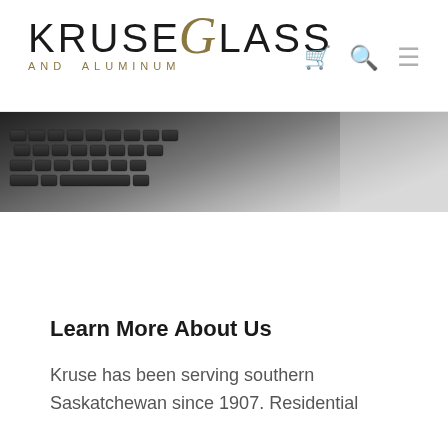KRUSE GLASS AND ALUMINUM
[Figure (photo): Partial view of a laptop keyboard, grey tones, cropped hero image]
Learn More About Us
Kruse has been serving southern Saskatchewan since 1907. Residential windows, residential doors, commercial